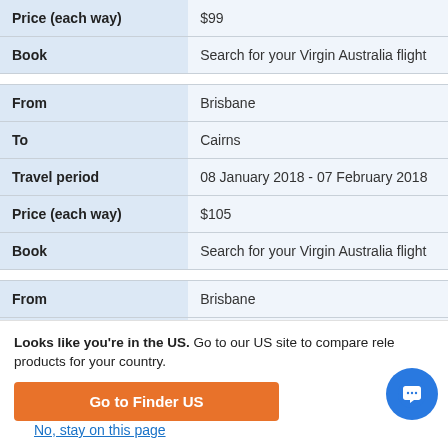| Field | Value |
| --- | --- |
| Price (each way) | $99 |
| Book | Search for your Virgin Australia flight |
| Field | Value |
| --- | --- |
| From | Brisbane |
| To | Cairns |
| Travel period | 08 January 2018 - 07 February 2018 |
| Price (each way) | $105 |
| Book | Search for your Virgin Australia flight |
| Field | Value |
| --- | --- |
| From | Brisbane |
| To | Hamilton Island |
Looks like you're in the US. Go to our US site to compare relevant products for your country.
Go to Finder US
No, stay on this page